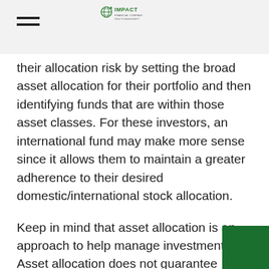IMPACT FINANCIAL COMPANY
their allocation risk by setting the broad asset allocation for their portfolio and then identifying funds that are within those asset classes. For these investors, an international fund may make more sense since it allows them to maintain a greater adherence to their desired domestic/international stock allocation.
Keep in mind that asset allocation is an approach to help manage investment risk. Asset allocation does not guarantee against investment loss.
As you consider a global or an international fund you should also be aware of the fund's approach the inherent currency risks. Some funds choose to